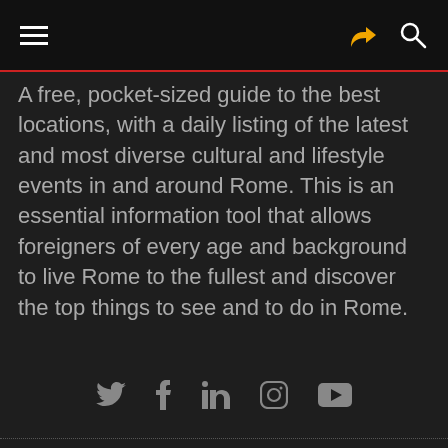[Navigation bar with hamburger menu, share icon, and search icon]
A free, pocket-sized guide to the best locations, with a daily listing of the latest and most diverse cultural and lifestyle events in and around Rome. This is an essential information tool that allows foreigners of every age and background to live Rome to the fullest and discover the top things to see and to do in Rome.
[Figure (other): Social media icons row: Twitter, Facebook, LinkedIn, Instagram, YouTube]
[Figure (logo): Romeing logo — large white lettered logo with a compass/lightning bolt icon replacing the letter o in 'ro', red circle with black star compass design and yellow lightning bolt]